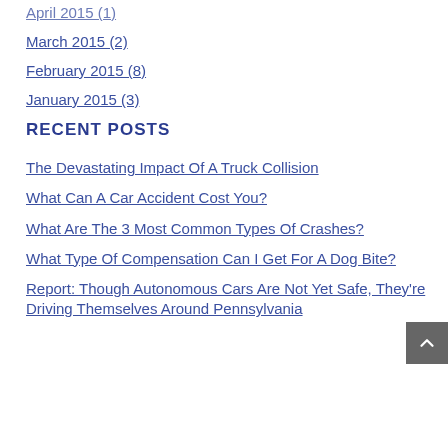April 2015 (1)
March 2015 (2)
February 2015 (8)
January 2015 (3)
RECENT POSTS
The Devastating Impact Of A Truck Collision
What Can A Car Accident Cost You?
What Are The 3 Most Common Types Of Crashes?
What Type Of Compensation Can I Get For A Dog Bite?
Report: Though Autonomous Cars Are Not Yet Safe, They're Driving Themselves Around Pennsylvania